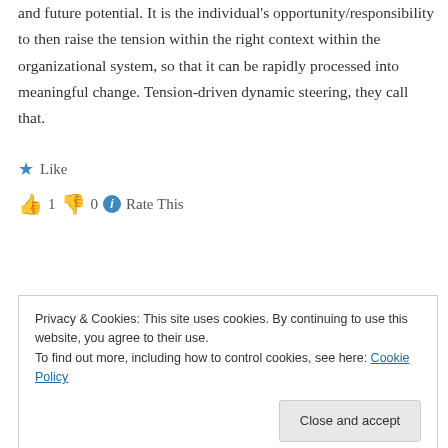and future potential. It is the individual's opportunity/responsibility to then raise the tension within the right context within the organizational system, so that it can be rapidly processed into meaningful change. Tension-driven dynamic steering, they call that.
★ Like
👍 1 👎 0 ℹ Rate This
Log in to Reply
Privacy & Cookies: This site uses cookies. By continuing to use this website, you agree to their use.
To find out more, including how to control cookies, see here: Cookie Policy